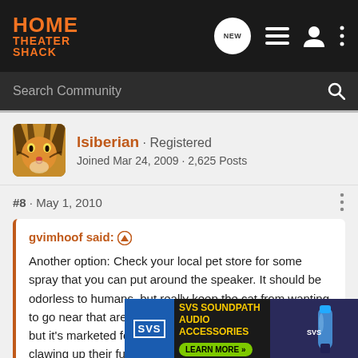HOME THEATER SHACK
Search Community
lsiberian · Registered
Joined Mar 24, 2009 · 2,625 Posts
#8 · May 1, 2010
gvimhoof said: ↑
Another option: Check your local pet store for some spray that you can put around the speaker. It should be odorless to humans, but really keep the cat from wanting to go near that area. I can't remember the name for it, but it's marketed for people who don't want their cats clawing up their furniture.
Is that t... ls like a very goo...
[Figure (screenshot): SVS SoundPath Audio Accessories advertisement banner at the bottom of the screen]